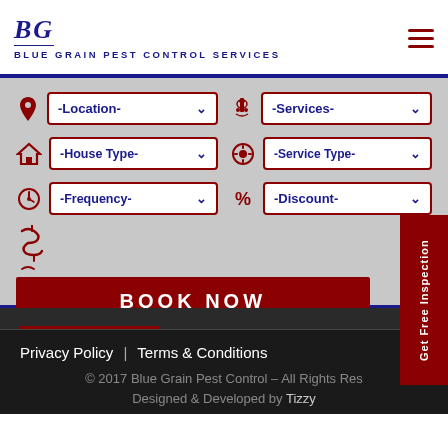[Figure (logo): Blue Grain Pest Control Services logo with BG initials in navy blue italic serif font and tagline in small caps]
[Figure (infographic): Website UI screenshot showing a booking form with dropdowns for Location, House Type, Frequency, Services, Service Type, Discount, a BOOK NOW button, and a Get Free Inspection sidebar tab]
Privacy Policy | Terms & Conditions
© 2017 Blue Grain Pest Control – All Rights Reserved
Designed & Developed by Tizzy